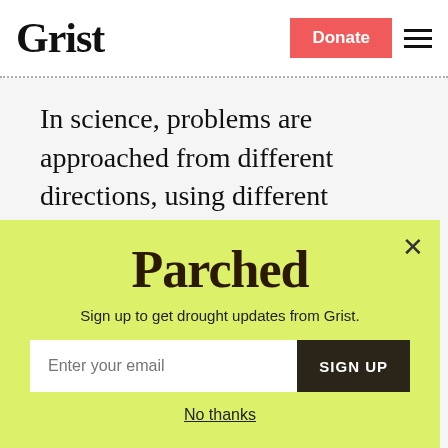Grist | Donate | Menu
In science, problems are approached from different directions, using different assumptions. For scientists, this isn't confusing, because they know that eventually all these different approaches will converge on the truth. For non-scientists, this often seems confusing...
[Figure (screenshot): Popup newsletter sign-up modal with yellow-green background for 'Parched' drought newsletter from Grist, with email input and Sign Up button, and 'No thanks' dismiss link.]